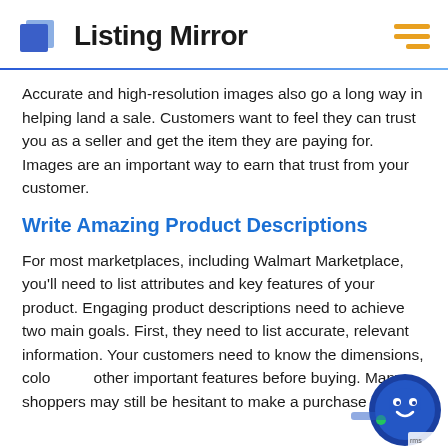Listing Mirror
Accurate and high-resolution images also go a long way in helping land a sale. Customers want to feel they can trust you as a seller and get the item they are paying for. Images are an important way to earn that trust from your customer.
Write Amazing Product Descriptions
For most marketplaces, including Walmart Marketplace, you'll need to list attributes and key features of your product. Engaging product descriptions need to achieve two main goals. First, they need to list accurate, relevant information. Your customers need to know the dimensions, color, and other important features before buying. Many shoppers may still be hesitant to make a purchase